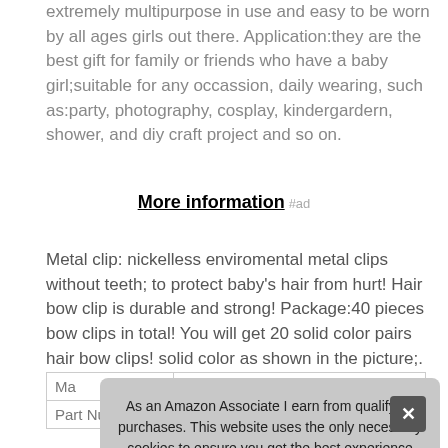extremely multipurpose in use and easy to be worn by all ages girls out there. Application:they are the best gift for family or friends who have a baby girl;suitable for any occassion, daily wearing, such as:party, photography, cosplay, kindergardern, shower, and diy craft project and so on.
More information #ad
Metal clip: nickelless enviromental metal clips without teeth; to protect baby's hair from hurt! Hair bow clip is durable and strong! Package:40 pieces bow clips in total! You will get 20 solid color pairs hair bow clips! solid color as shown in the picture;.
As an Amazon Associate I earn from qualifying purchases. This website uses the only necessary cookies to ensure you get the best experience on our website. More information
| Ma |  |
| Part Number | CELLOT-XY-28 |